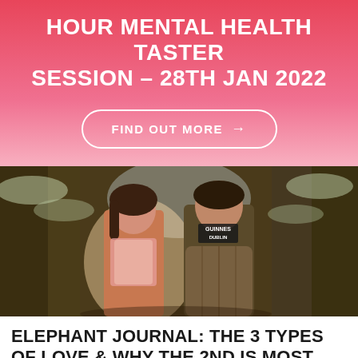HOUR MENTAL HEALTH TASTER SESSION – 28TH JAN 2022
FIND OUT MORE →
[Figure (photo): Two people standing outdoors in a wintery wooded setting with snow-covered trees. One person wears a pink top and the other wears a dark Guinness Dublin t-shirt and a puffer jacket.]
ELEPHANT JOURNAL: THE 3 TYPES OF LOVE & WHY THE 2ND IS MOST